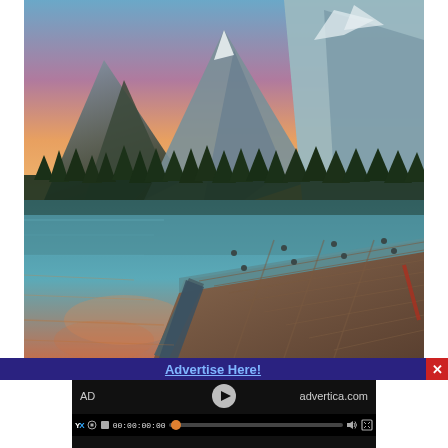[Figure (photo): Scenic mountain lake at sunset with a wooden dock/raft in the foreground. Tall evergreen trees line the far shore, with rugged mountain peaks reflected in calm teal water. Orange and pink sunset sky above.]
Advertise Here!
AD  advertica.com
00:00:00:00